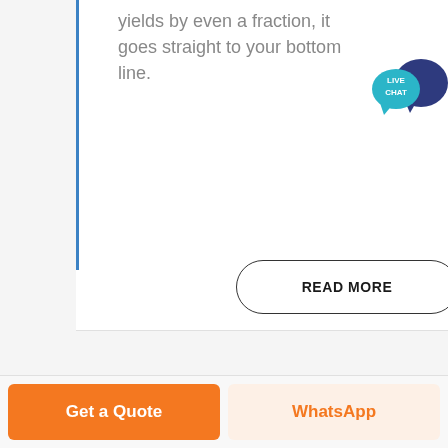yields by even a fraction, it goes straight to your bottom line.
[Figure (other): READ MORE pill-shaped button with rounded border]
[Figure (other): Live Chat speech bubble icon in teal and dark blue]
[Figure (other): Get a Quote orange button and WhatsApp button in bottom bar]